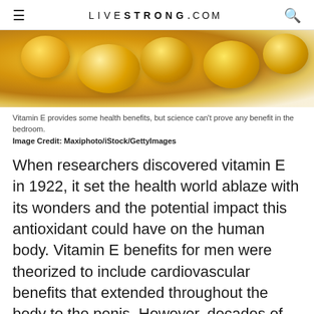LIVESTRONG.COM
[Figure (photo): Close-up photo of golden/yellow vitamin E gel capsules on a light background]
Vitamin E provides some health benefits, but science can't prove any benefit in the bedroom.
Image Credit: Maxiphoto/iStock/GettyImages
When researchers discovered vitamin E in 1922, it set the health world ablaze with its wonders and the potential impact this antioxidant could have on the human body. Vitamin E benefits for men were theorized to include cardiovascular benefits that extended throughout the body to the penis. However, decades of recent scientific studies show that vitamin E won't help you in the bedroom and getting too much can actually harm your health.